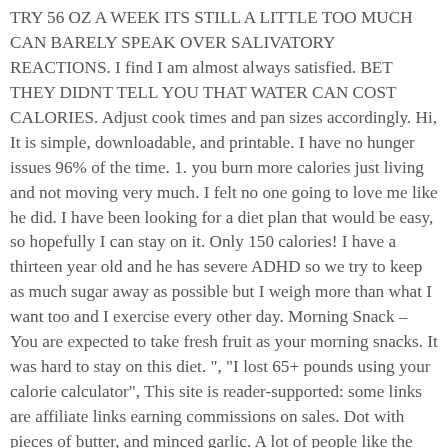TRY 56 OZ A WEEK ITS STILL A LITTLE TOO MUCH CAN BARELY SPEAK OVER SALIVATORY REACTIONS. I find I am almost always satisfied. BET THEY DIDNT TELL YOU THAT WATER CAN COST CALORIES. Adjust cook times and pan sizes accordingly. Hi, It is simple, downloadable, and printable. I have no hunger issues 96% of the time. 1. you burn more calories just living and not moving very much. I felt no one going to love me like he did. I have been looking for a diet plan that would be easy, so hopefully I can stay on it. Only 150 calories! I have a thirteen year old and he has severe ADHD so we try to keep as much sugar away as possible but I weigh more than what I want too and I exercise every other day. Morning Snack – You are expected to take fresh fruit as your morning snacks. It was hard to stay on this diet. ", "I lost 65+ pounds using your calorie calculator", This site is reader-supported: some links are affiliate links earning commissions on sales. Dot with pieces of butter, and minced garlic. A lot of people like the idea of 1000 calories a day. ANY diet works if you're only consuming 1000 calories a